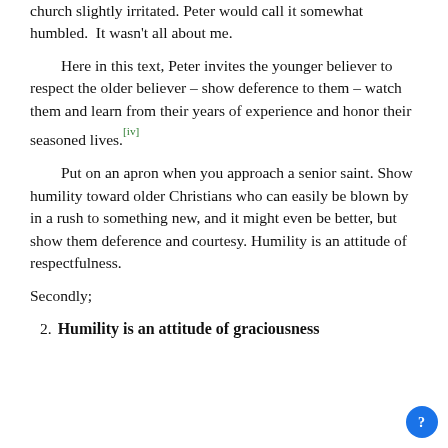church slightly irritated. Peter would call it somewhat humbled.  It wasn't all about me.
Here in this text, Peter invites the younger believer to respect the older believer – show deference to them – watch them and learn from their years of experience and honor their seasoned lives.[iv]
Put on an apron when you approach a senior saint. Show humility toward older Christians who can easily be blown by in a rush to something new, and it might even be better, but show them deference and courtesy. Humility is an attitude of respectfulness.
Secondly;
2. Humility is an attitude of graciousness